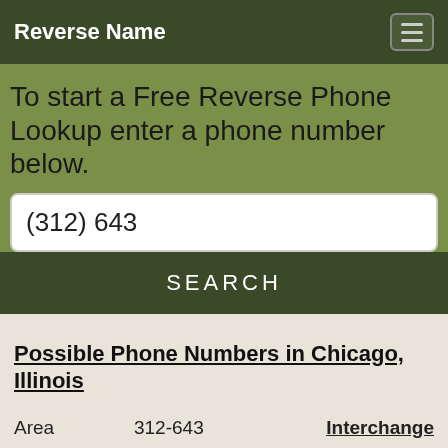Reverse Name
To start a Free Reverse Phone Lookup enter a phone number below.
(312) 643
SEARCH
Possible Phone Numbers in Chicago, Illinois
| Area |  | Interchange |
| --- | --- | --- |
|  | 312-643 | Interchange |